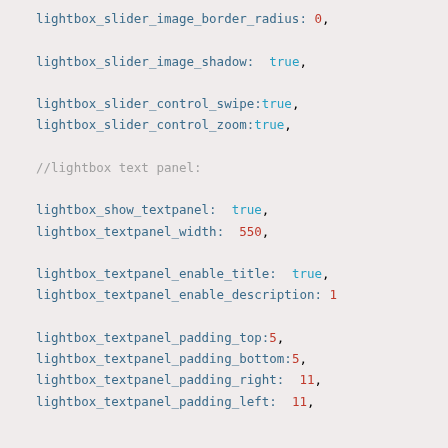lightbox_slider_image_border_radius: 0,
lightbox_slider_image_shadow: true,
lightbox_slider_control_swipe:true,
lightbox_slider_control_zoom:true,
//lightbox text panel:
lightbox_show_textpanel: true,
lightbox_textpanel_width: 550,
lightbox_textpanel_enable_title: true,
lightbox_textpanel_enable_description: 1
lightbox_textpanel_padding_top:5,
lightbox_textpanel_padding_bottom:5,
lightbox_textpanel_padding_right: 11,
lightbox_textpanel_padding_left: 11,